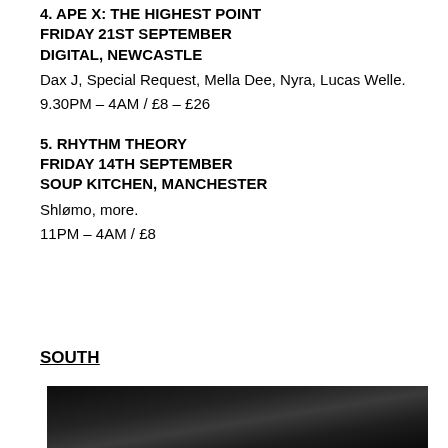4. APE X: THE HIGHEST POINT
FRIDAY 21ST SEPTEMBER
DIGITAL, NEWCASTLE
Dax J, Special Request, Mella Dee, Nyra, Lucas Welle.
9.30PM – 4AM / £8 – £26
5. RHYTHM THEORY
FRIDAY 14TH SEPTEMBER
SOUP KITCHEN, MANCHESTER
Shlømo, more.
11PM – 4AM / £8
SOUTH
[Figure (photo): Dark photographic image, mostly black with subtle texture, cropped at bottom of page.]